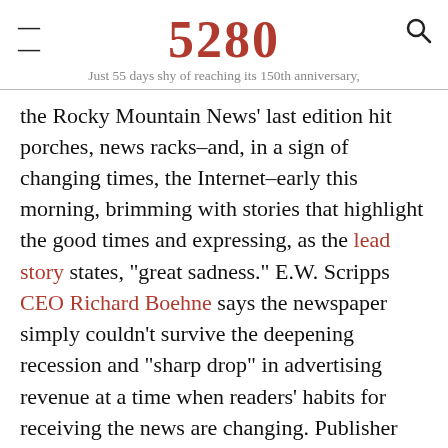5280
Just 55 days shy of reaching its 150th anniversary,
the Rocky Mountain News’ last edition hit porches, news racks–and, in a sign of changing times, the Internet–early this morning, brimming with stories that highlight the good times and expressing, as the lead story states, “great sadness.” E.W. Scripps CEO Richard Boehne says the newspaper simply couldn’t survive the deepening recession and “sharp drop” in advertising revenue at a time when readers’ habits for receiving the news are changing. Publisher and chief editor John Temple writes that the decline of classified advertising alone was a $100 million